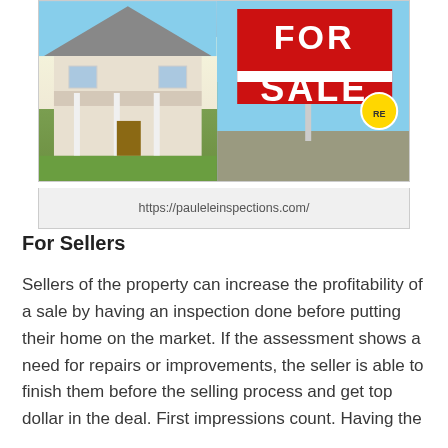[Figure (photo): Photo of a house for sale with a large red FOR SALE sign in the front yard. The left side shows a white house with porch columns and green lawn. The right side features a prominent red FOR SALE sign.]
https://pauleleinspections.com/
For Sellers
Sellers of the property can increase the profitability of a sale by having an inspection done before putting their home on the market. If the assessment shows a need for repairs or improvements, the seller is able to finish them before the selling process and get top dollar in the deal. First impressions count. Having the